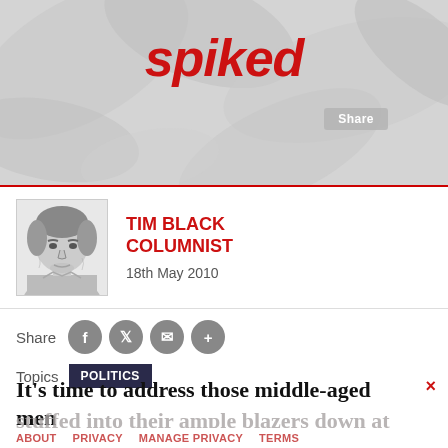spiked
[Figure (photo): Portrait illustration of Tim Black, a man in a sketched/drawn style, seated, middle-aged.]
TIM BLACK
COLUMNIST
18th May 2010
Share
Topics  POLITICS
It's time to address those middle-aged men
stuffed into their ample blazers down at
ABOUT   PRIVACY   MANAGE PRIVACY   TERMS